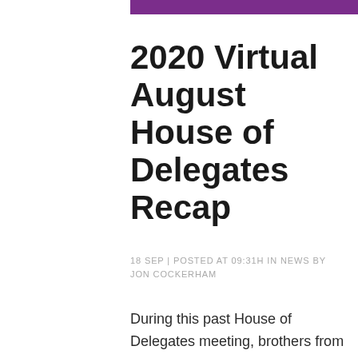[Figure (other): Purple decorative bar at top right of page]
2020 Virtual August House of Delegates Recap
18 SEP | POSTED AT 09:31H IN NEWS BY JON COCKERHAM
During this past House of Delegates meeting, brothers from every chapter of Pi Lambda Phi Fraternity